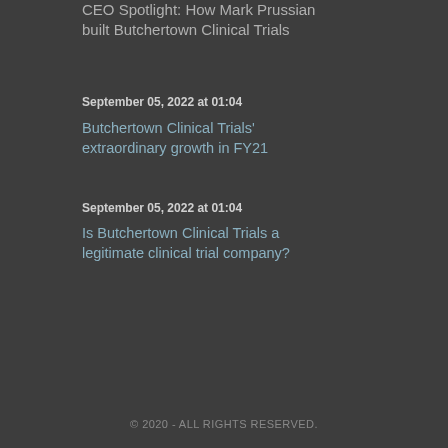CEO Spotlight: How Mark Prussian built Butchertown Clinical Trials
September 05, 2022 at 01:04
Butchertown Clinical Trials' extraordinary growth in FY21
September 05, 2022 at 01:04
Is Butchertown Clinical Trials a legitimate clinical trial company?
© 2020 - ALL RIGHTS RESERVED.